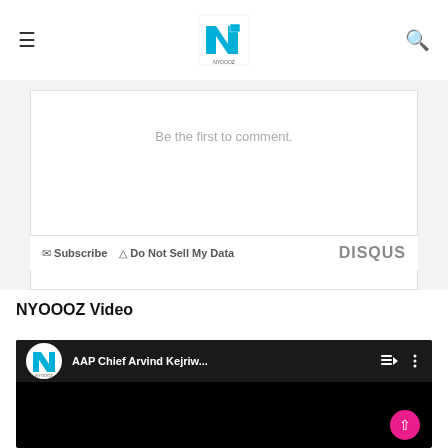NYOOOZ — My City My News
Be the first to comment.
Subscribe  Do Not Sell My Data  DISQUS
NYOOOZ Video
[Figure (screenshot): YouTube video player showing 'AAP Chief Arvind Kejriw...' with NYOOOZ channel logo, playlist icon, and more options icon on a dark top bar over a black video background.]